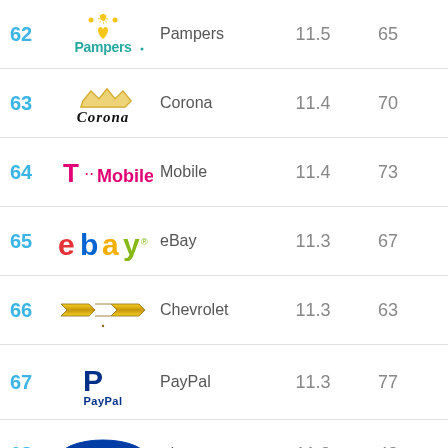| Rank | Brand | Value | Score |
| --- | --- | --- | --- |
| 62 | Pampers | 11.5 | 65 |
| 63 | Corona | 11.4 | 70 |
| 64 | T-Mobile | 11.4 | 73 |
| 65 | eBay | 11.3 | 67 |
| 66 | Chevrolet | 11.3 | 63 |
| 67 | PayPal | 11.3 | 77 |
| 68 | Ford | 11.2 | 48 |